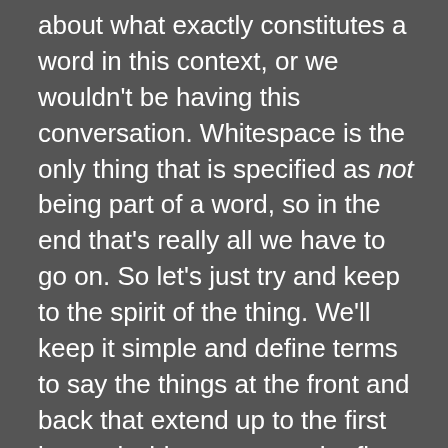about what exactly constitutes a word in this context, or we wouldn't be having this conversation. Whitespace is the only thing that is specified as not being part of a word, so in the end that's really all we have to go on. So let's just try and keep to the spirit of the thing. We'll keep it simple and define terms to say the things at the front and back that extend up to the first internal whitespace are the first and last words, as long as there's something in there that isn't whitespace as part of it. Oh how the simplest of things can get so complicated. But it doesn't matter much what exactly we do here, as